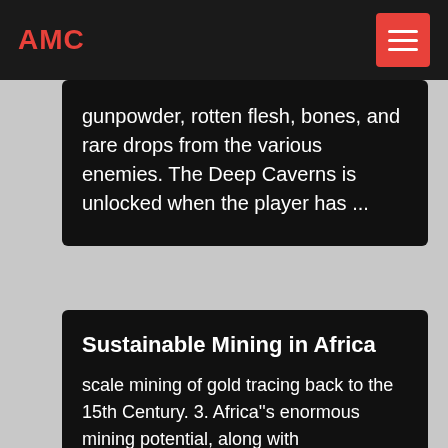AMC
gunpowder, rotten flesh, bones, and rare drops from the various enemies. The Deep Caverns is unlocked when the player has ...
Sustainable Mining in Africa
scale mining of gold tracing back to the 15th Century. 3. Africa''s enormous mining potential, along with improvements in political systems, and changes in fiscal and regulatory environments has led to a rise in investments over the years. In 2010, mining in Africa amounted to 8 percent